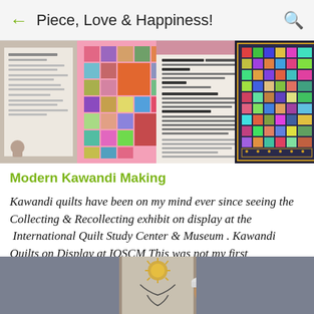← Piece, Love & Happiness! 🔍
[Figure (photo): Four-panel image strip showing Kawandi quilts on display at IQSCM: text panel, colorful patchwork quilt on pink background, informational text card, and bright multicolored quilt on dark background]
Modern Kawandi Making
Kawandi quilts have been on my mind ever since seeing the Collecting & Recollecting exhibit on display at the  International Quilt Study Center & Museum . Kawandi Quilts on Display at IQSCM This was not my first introduction to Kawandi style ...
[Figure (photo): Partial photo at bottom showing a person wearing a cap standing in front of a door with a decorative sun-face wall art]